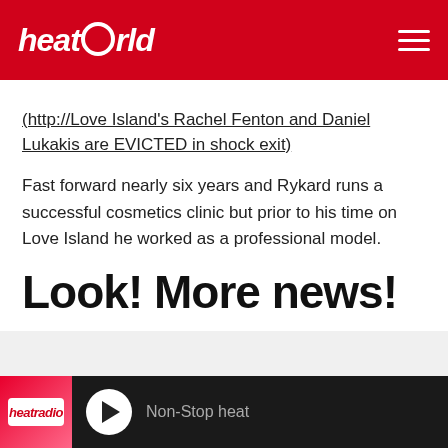heatworld
(http://Love Island's Rachel Fenton and Daniel Lukakis are EVICTED in shock exit)
Fast forward nearly six years and Rykard runs a successful cosmetics clinic but prior to his time on Love Island he worked as a professional model.
Look! More news!
Malin Andersson lays into show cheat Rykard Jenkins as
Non-Stop heat